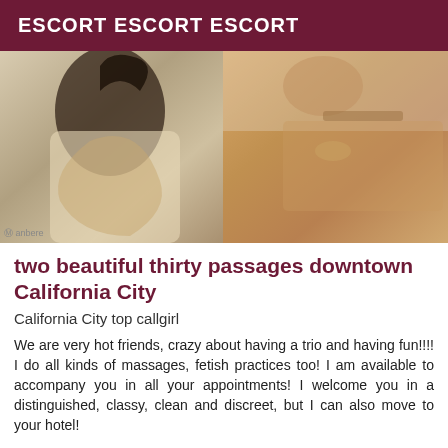ESCORT ESCORT ESCORT
[Figure (photo): Two side-by-side photos]
two beautiful thirty passages downtown California City
California City top callgirl
We are very hot friends, crazy about having a trio and having fun!!!! I do all kinds of massages, fetish practices too! I am available to accompany you in all your appointments! I welcome you in a distinguished, classy, clean and discreet, but I can also move to your hotel!